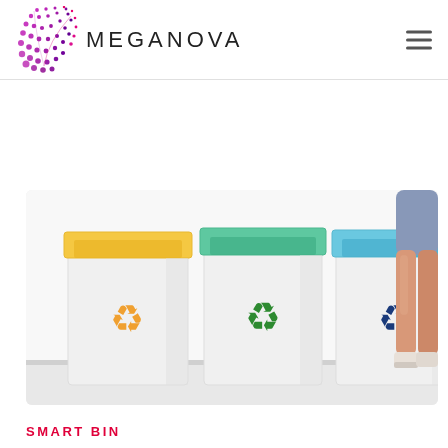[Figure (logo): Meganova logo with decorative dotted arc graphic in pink/purple and magenta, next to the text MEGANOVA in spaced uppercase sans-serif]
[Figure (photo): Three white recycling bins with colored tops and recycling symbol stickers: left bin has yellow/orange top and orange recycling symbol, middle bin has teal/green top and green recycling symbol, right bin has blue top and dark blue recycling symbol. A person's legs in denim shorts and white sneakers visible at the right edge.]
SMART BIN